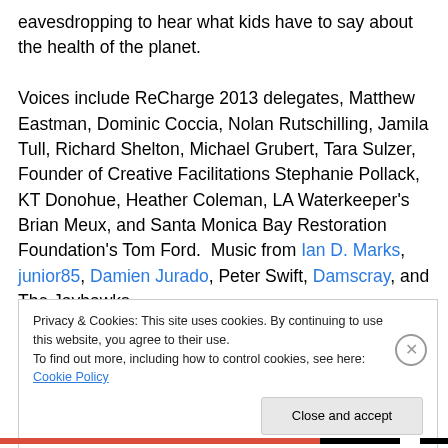eavesdropping to hear what kids have to say about the health of the planet.

Voices include ReCharge 2013 delegates, Matthew Eastman, Dominic Coccia, Nolan Rutschilling, Jamila Tull, Richard Shelton, Michael Grubert, Tara Sulzer, Founder of Creative Facilitations Stephanie Pollack, KT Donohue, Heather Coleman, LA Waterkeeper's Brian Meux, and Santa Monica Bay Restoration Foundation's Tom Ford. Music from Ian D. Marks, junior85, Damien Jurado, Peter Swift, Damscray, and The Jayhawks.
Privacy & Cookies: This site uses cookies. By continuing to use this website, you agree to their use.
To find out more, including how to control cookies, see here: Cookie Policy